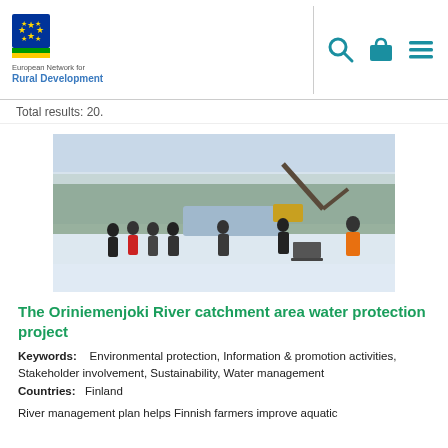European Network for Rural Development
Total results: 20.
[Figure (photo): Winter outdoor scene with a group of people standing in a snow-covered field, an excavator/crane in the background, and a treeline of snow-covered conifers. One person wears an orange jacket.]
The Oriniemenjoki River catchment area water protection project
Keywords:    Environmental protection, Information & promotion activities, Stakeholder involvement, Sustainability, Water management
Countries:   Finland
River management plan helps Finnish farmers improve aquatic